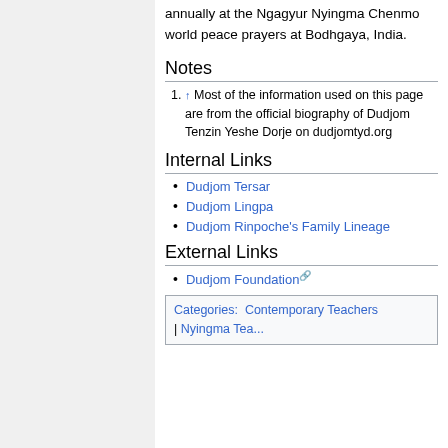annually at the Ngagyur Nyingma Chenmo world peace prayers at Bodhgaya, India.
Notes
↑ Most of the information used on this page are from the official biography of Dudjom Tenzin Yeshe Dorje on dudjomtyd.org
Internal Links
Dudjom Tersar
Dudjom Lingpa
Dudjom Rinpoche's Family Lineage
External Links
Dudjom Foundation
Categories: Contemporary Teachers | Nyingma Teachers